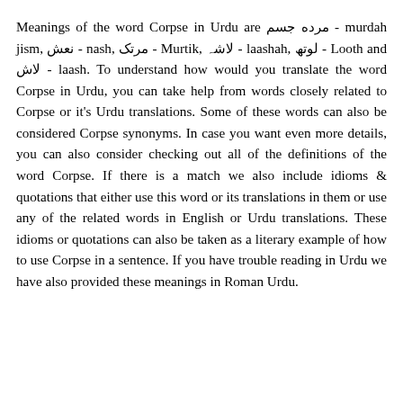Meanings of the word Corpse in Urdu are مرده جسم - murdah jism, نعش - nash, مرتک - Murtik, لاشہ - laashah, لوتھ - Looth and لاش - laash. To understand how would you translate the word Corpse in Urdu, you can take help from words closely related to Corpse or it's Urdu translations. Some of these words can also be considered Corpse synonyms. In case you want even more details, you can also consider checking out all of the definitions of the word Corpse. If there is a match we also include idioms & quotations that either use this word or its translations in them or use any of the related words in English or Urdu translations. These idioms or quotations can also be taken as a literary example of how to use Corpse in a sentence. If you have trouble reading in Urdu we have also provided these meanings in Roman Urdu.